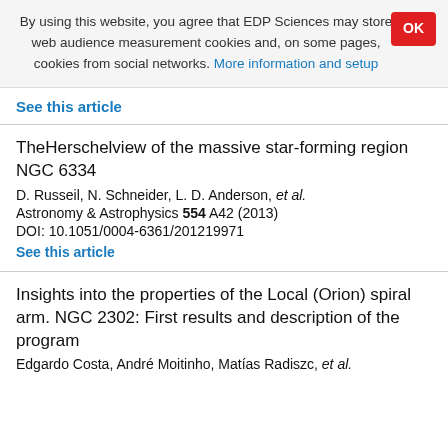By using this website, you agree that EDP Sciences may store web audience measurement cookies and, on some pages, cookies from social networks. More information and setup
OK
See this article
TheHerschelview of the massive star-forming region NGC 6334
D. Russeil, N. Schneider, L. D. Anderson, et al.
Astronomy & Astrophysics 554 A42 (2013)
DOI: 10.1051/0004-6361/201219971
See this article
Insights into the properties of the Local (Orion) spiral arm. NGC 2302: First results and description of the program
Edgardo Costa, André Moitinho, Matías Radiszc, et al.